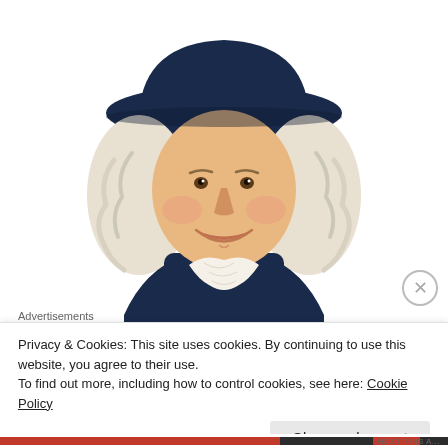Blinkist
[Figure (illustration): Illustrated portrait of the Quaker Oats man: a smiling colonial-era man with white curled hair and a dark navy wide-brimmed hat, wearing a dark navy coat with a white ruffled cravat at the neck. The figure is shown from the waist up against a white background.]
Advertisements
Privacy & Cookies: This site uses cookies. By continuing to use this website, you agree to their use.
To find out more, including how to control cookies, see here: Cookie Policy
Close and accept